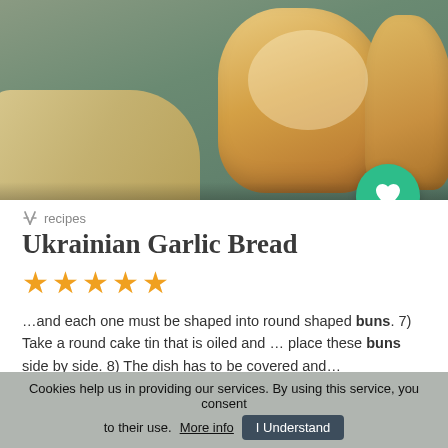[Figure (photo): Close-up photo of Ukrainian garlic bread buns on a teal surface with a tan cloth/napkin in the background. A teal circular heart/favorite button is overlaid at the bottom right of the image.]
recipes
Ukrainian Garlic Bread
★★★★★
…and each one must be shaped into round shaped buns. 7) Take a round cake tin that is oiled and … place these buns side by side. 8) The dish has to be covered and…
Similar recipes like Ukrainian Garlic Bread
Cookies help us in providing our services. By using this service, you consent to their use. More info  I Understand